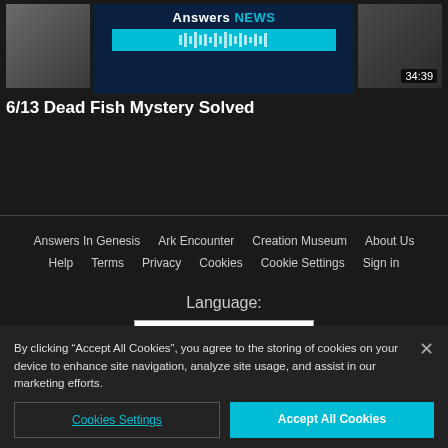[Figure (screenshot): Three video thumbnails in a row. Left thumbnail shows a dark image. Middle thumbnail shows Answers News logo with teal waveform graphic. Right thumbnail shows a dark image with time badge 34:39.]
6/13 Dead Fish Mystery Solved
Answers In Genesis   Ark Encounter   Creation Museum   About Us   Help   Terms   Privacy   Cookies   Cookie Settings   Sign in
Language:
English
By clicking “Accept All Cookies”, you agree to the storing of cookies on your device to enhance site navigation, analyze site usage, and assist in our marketing efforts.
Cookies Settings
Accept All Cookies